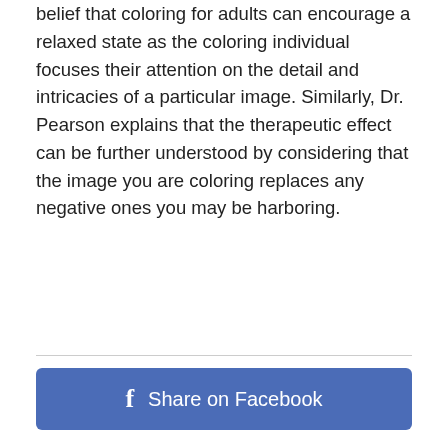belief that coloring for adults can encourage a relaxed state as the coloring individual focuses their attention on the detail and intricacies of a particular image. Similarly, Dr. Pearson explains that the therapeutic effect can be further understood by considering that the image you are coloring replaces any negative ones you may be harboring.
[Figure (other): Share on Facebook button — a blue rounded rectangle with the Facebook 'f' icon and the text 'Share on Facebook' in white]
Other Popular Coloring Pages